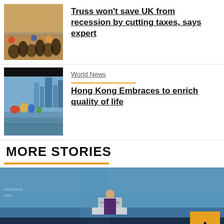[Figure (photo): Crowd of people on a street, outdoor scene]
Truss won't save UK from recession by cutting taxes, says expert
[Figure (photo): Hong Kong waterfront with colorful sculptures and city skyline]
World News
Hong Kong Embraces to enrich quality of life
MORE STORIES
[Figure (photo): Person at a conference podium on stage with audience in silhouette, blue background]